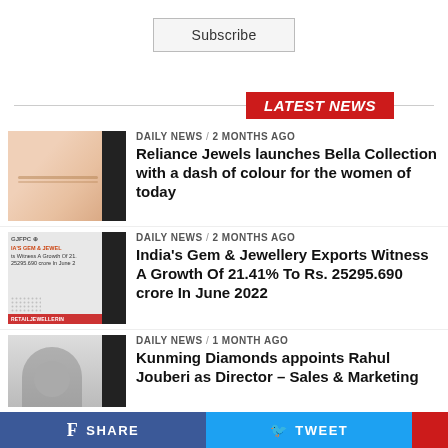Subscribe
LATEST NEWS
[Figure (photo): Thumbnail image of a bracelet on a wrist]
DAILY NEWS / 2 months ago
Reliance Jewels launches Bella Collection with a dash of colour for the women of today
[Figure (photo): Thumbnail image with GJFPC logo and text about India's Gem & Jewellery Exports]
DAILY NEWS / 2 months ago
India's Gem & Jewellery Exports Witness A Growth Of 21.41% To Rs. 25295.690 crore In June 2022
[Figure (photo): Thumbnail image of a man with glasses]
DAILY NEWS / 1 month ago
Kunming Diamonds appoints Rahul Jouberi as Director – Sales & Marketing
SHARE   TWEET